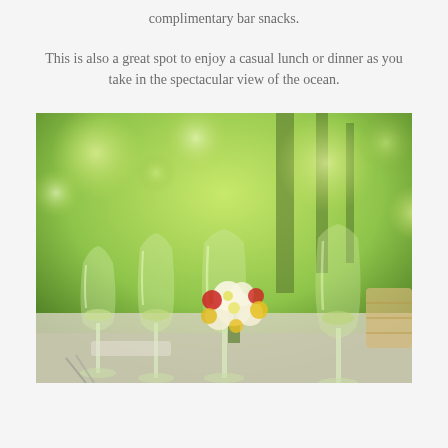complimentary bar snacks.
This is also a great spot to enjoy a casual lunch or dinner as you take in the spectacular view of the ocean.
[Figure (photo): Outdoor dining table setting with wine glasses filled with white wine and a floral centerpiece of white, red, and yellow flowers, with lush green bokeh background]